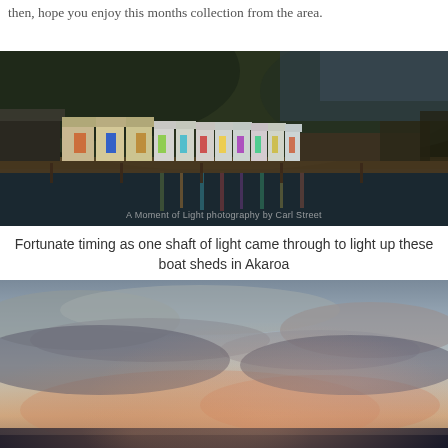then, hope you enjoy this months collection from the area.
[Figure (photo): Colorful boat sheds on a waterfront jetty at Akaroa, lit by a single shaft of light against a dark, stormy hillside backdrop. Reflections visible in the calm water below. Watermark reads: A Moment of Light photography by Carl Street]
Fortunate timing as one shaft of light came through to light up these boat sheds in Akaroa
[Figure (photo): Dramatic sunset sky over Akaroa with pink and orange clouds against a blue-grey sky, dark silhouetted hills or water at the bottom of the frame.]